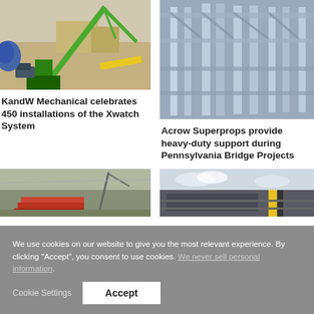[Figure (photo): Green crane/excavator machine in a yard with blue structures and industrial buildings in the background]
KandW Mechanical celebrates 450 installations of the Xwatch System
[Figure (photo): Blue-toned image of Acrow Superprops steel support structures beneath a bridge or concrete deck]
Acrow Superprops provide heavy-duty support during Pennsylvania Bridge Projects
[Figure (photo): Construction site with piled materials and machinery]
[Figure (photo): Modern industrial warehouse or commercial building with grey and dark cladding]
We use cookies on our website to give you the most relevant experience. By clicking “Accept”, you consent to use cookies. We never sell personal information.
Cookie Settings
Accept